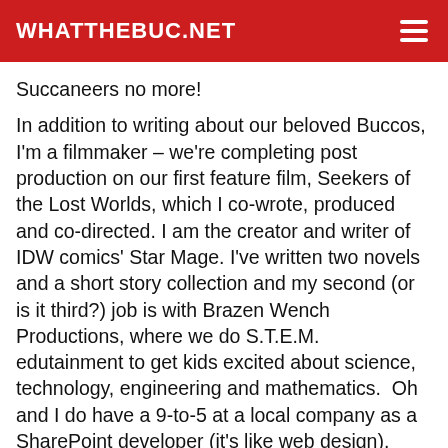WHATTHEBUC.NET
Succaneers no more!
In addition to writing about our beloved Buccos, I'm a filmmaker – we're completing post production on our first feature film, Seekers of the Lost Worlds, which I co-wrote, produced and co-directed. I am the creator and writer of IDW comics' Star Mage. I've written two novels and a short story collection and my second (or is it third?) job is with Brazen Wench Productions, where we do S.T.E.M. edutainment to get kids excited about science, technology, engineering and mathematics.  Oh and I do have a 9-to-5 at a local company as a SharePoint developer (it's like web design).